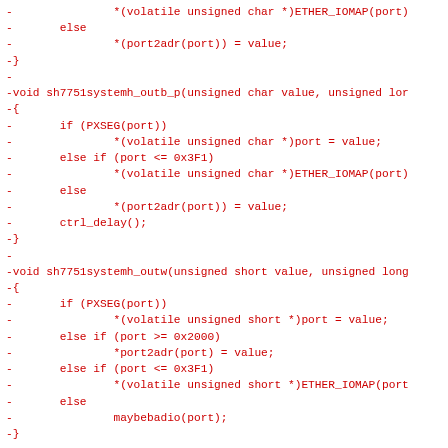Code diff showing removed lines (prefixed with -) of C source code for sh7751systemh I/O port functions: outb, outb_p, outw, outl